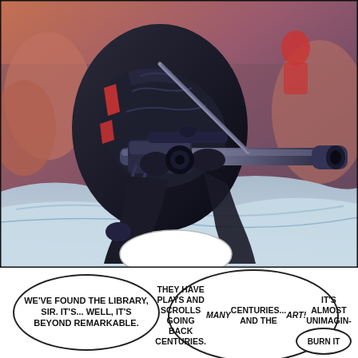[Figure (illustration): Comic book panel showing a dark armored figure in black tactical/robotic armor holding a large sniper rifle or cannon. The figure is crouched or moving through a snowy or icy environment. Background shows a reddish-orange sky with other figures visible. A white speech bubble tail emerges from the bottom of the panel.]
WE'VE FOUND THE LIBRARY, SIR. IT'S... WELL, IT'S BEYOND REMARKABLE.
THEY HAVE PLAYS AND SCROLLS GOING BACK CENTURIES. MANY CENTURIES... AND THE ART! IT'S ALMOST UNIMAGIN--
BURN IT